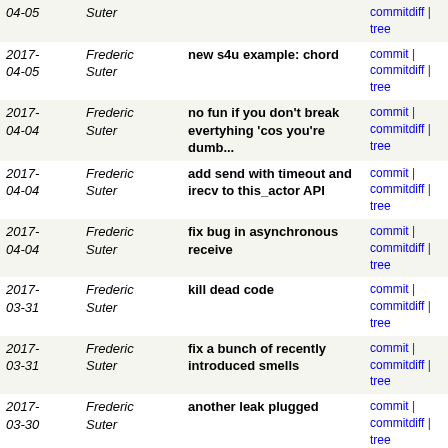| Date | Author | Message | Links |
| --- | --- | --- | --- |
| 2017-04-05 | Frederic Suter | (partial – top row cut off) | commitdiff | tree |
| 2017-04-05 | Frederic Suter | new s4u example: chord | commit | commitdiff | tree |
| 2017-04-04 | Frederic Suter | no fun if you don't break evertyhing 'cos you're dumb... | commit | commitdiff | tree |
| 2017-04-04 | Frederic Suter | add send with timeout and irecv to this_actor API | commit | commitdiff | tree |
| 2017-04-04 | Frederic Suter | fix bug in asynchronous receive | commit | commitdiff | tree |
| 2017-03-31 | Frederic Suter | kill dead code | commit | commitdiff | tree |
| 2017-03-31 | Frederic Suter | fix a bunch of recently introduced smells | commit | commitdiff | tree |
| 2017-03-30 | Frederic Suter | another leak plugged | commit | commitdiff | tree |
| 2017-03-30 | Frederic Suter | leak plug | commit | commitdiff | tree |
| 2017-03-30 | Frederic Suter | do not initialize surf for nothing | commit | commitdiff | tree |
| 2017-03-30 | Frederic Suter | attempt to plug all leaks for simdag. | commit | commitdiff | tree |
| 2017-03-30 | Frederic Suter | remove dead code | commit | commitdiff | tree |
| 2017-03-30 | Frederic Suter | modernize two simcalls | commit | commitdiff | tree |
| 2017- | Frederic | Revert "Revert "cast once for all at | commit | commitdiff |